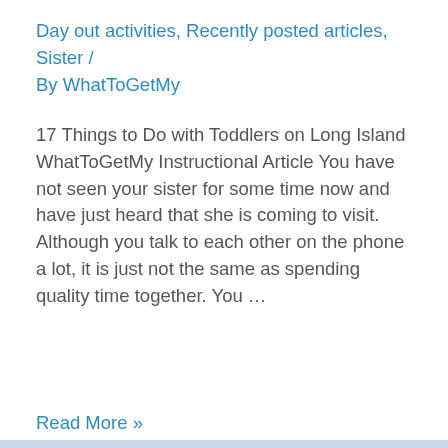Day out activities, Recently posted articles, Sister / By WhatToGetMy
17 Things to Do with Toddlers on Long Island WhatToGetMy Instructional Article You have not seen your sister for some time now and have just heard that she is coming to visit. Although you talk to each other on the phone a lot, it is just not the same as spending quality time together. You …
Read More »
← Previous Page   1  …  11
12   13   Next Page →